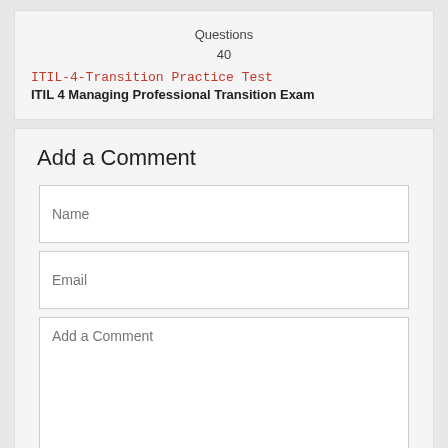Questions
40
ITIL-4-Transition Practice Test
ITIL 4 Managing Professional Transition Exam
Add a Comment
Name
Email
Add a Comment